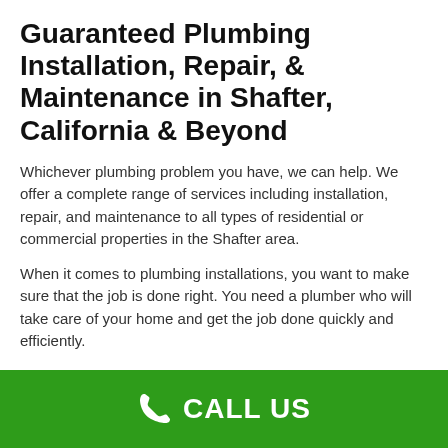Guaranteed Plumbing Installation, Repair, & Maintenance in Shafter, California & Beyond
Whichever plumbing problem you have, we can help. We offer a complete range of services including installation, repair, and maintenance to all types of residential or commercial properties in the Shafter area.
When it comes to plumbing installations, you want to make sure that the job is done right. You need a plumber who will take care of your home and get the job done quickly and efficiently.
Call our professional team now for any emergency plumbing issue.
CALL US